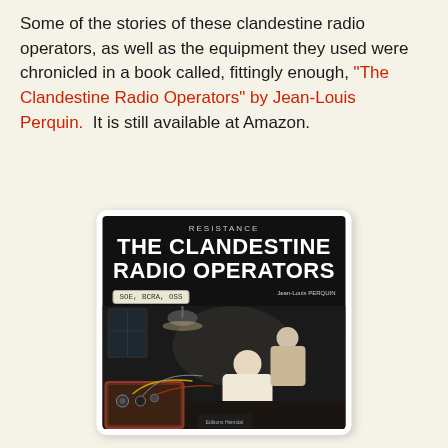Some of the stories of these clandestine radio operators, as well as the equipment they used were chronicled in a book called, fittingly enough, "The Clandestine Radio Operators" by Jean-Louis Perquin.  It is still available at Amazon.
[Figure (illustration): Book cover of 'The Clandestine Radio Operators' by Jean-Louis Perquin. Dark/black cover with white bold text title, subtitle 'RESISTANCE' at top, badge reading 'SOE, BCRA, OSS', author name Jean-Louis PERQUIN, and a black and white photograph of radio operators working with clandestine radio equipment.]